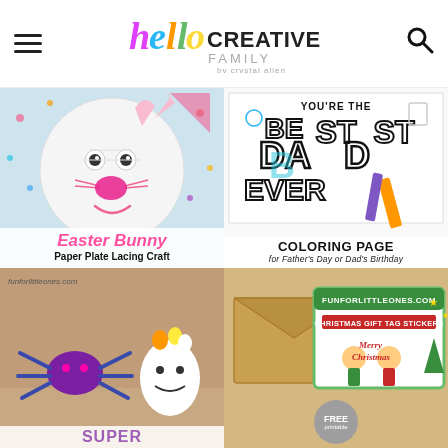hello CREATIVE FAMILY by crystal allen
[Figure (photo): Easter Bunny paper plate craft with googly eyes and pink yarn heart on blue background]
Easter Bunny Paper Plate Lacing Craft
[Figure (photo): Best Dad Ever coloring page with crayons]
COLORING PAGE for Father's Day or Dad's Birthday
[Figure (photo): Halloween spider craft and marshmallow ghost candy holder - funforlittleones.com]
[Figure (photo): Christmas gift tag stickers - FREE - funforlittleones.com]